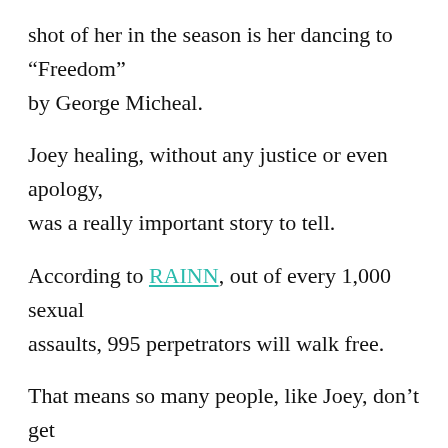shot of her in the season is her dancing to “Freedom” by George Micheal.
Joey healing, without any justice or even apology, was a really important story to tell.
According to RAINN, out of every 1,000 sexual assaults, 995 perpetrators will walk free.
That means so many people, like Joey, don’t get justice. And are left to grapple with their trauma without any real closure. This is why watching Joey go through such a hard time, get better, and then get